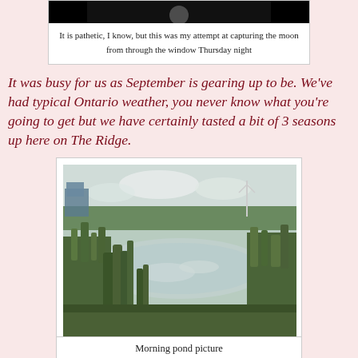[Figure (photo): Dark/blurry photo of the moon taken through a window at night]
It is pathetic, I know, but this was my attempt at capturing the moon from through the window Thursday night
It was busy for us as September is gearing up to be. We've had typical Ontario weather, you never know what you're going to get but we have certainly tasted a bit of 3 seasons up here on The Ridge.
[Figure (photo): Morning pond picture showing a pond surrounded by tall grasses and trees, with a wind turbine visible in the background]
Morning pond picture
We had our coffee and tea and Bill popped the furnace